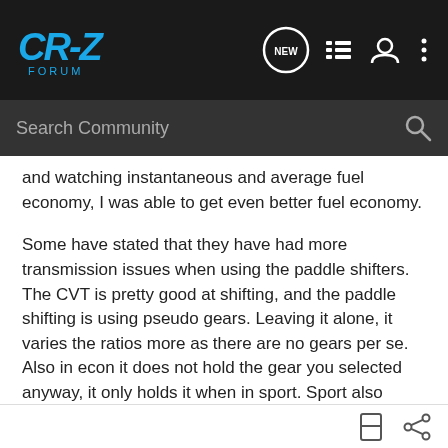[Figure (logo): CR-Z Forum logo in blue on dark background navigation bar with NEW button, list icon, user icon, and more icon]
[Figure (screenshot): Search Community search bar with magnifying glass icon on dark background]
and watching instantaneous and average fuel economy, I was able to get even better fuel economy.

Some have stated that they have had more transmission issues when using the paddle shifters. The CVT is pretty good at shifting, and the paddle shifting is using pseudo gears. Leaving it alone, it varies the ratios more as there are no gears per se. Also in econ it does not hold the gear you selected anyway, it only holds it when in sport. Sport also changes the steering feel/ quickness.
Diegomg